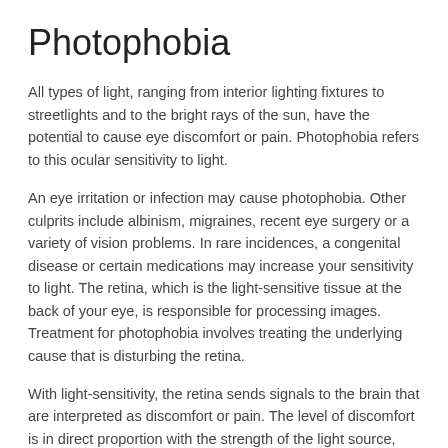Photophobia
All types of light, ranging from interior lighting fixtures to streetlights and to the bright rays of the sun, have the potential to cause eye discomfort or pain. Photophobia refers to this ocular sensitivity to light.
An eye irritation or infection may cause photophobia. Other culprits include albinism, migraines, recent eye surgery or a variety of vision problems. In rare incidences, a congenital disease or certain medications may increase your sensitivity to light. The retina, which is the light-sensitive tissue at the back of your eye, is responsible for processing images. Treatment for photophobia involves treating the underlying cause that is disturbing the retina.
With light-sensitivity, the retina sends signals to the brain that are interpreted as discomfort or pain. The level of discomfort is in direct proportion with the strength of the light source, and it doesn't matter if the light is man-made or natural.